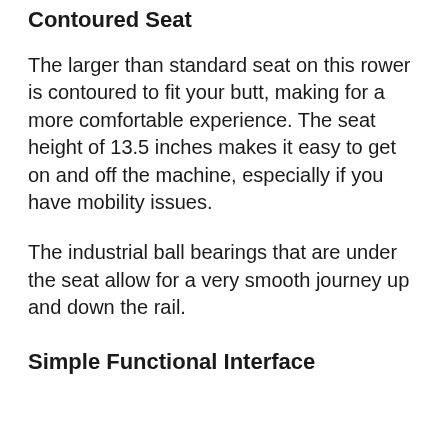Contoured Seat
The larger than standard seat on this rower is contoured to fit your butt, making for a more comfortable experience. The seat height of 13.5 inches makes it easy to get on and off the machine, especially if you have mobility issues.
The industrial ball bearings that are under the seat allow for a very smooth journey up and down the rail.
Simple Functional Interface